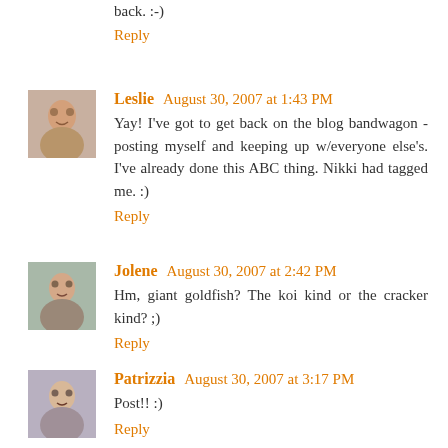back. :-)
Reply
Leslie  August 30, 2007 at 1:43 PM
Yay! I've got to get back on the blog bandwagon - posting myself and keeping up w/everyone else's. I've already done this ABC thing. Nikki had tagged me. :)
Reply
Jolene  August 30, 2007 at 2:42 PM
Hm, giant goldfish? The koi kind or the cracker kind? ;)
Reply
Patrizzia  August 30, 2007 at 3:17 PM
Post!! :)
Reply